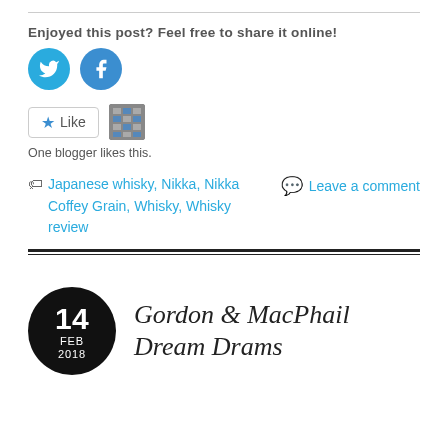Enjoyed this post? Feel free to share it online!
[Figure (infographic): Two circular social media share buttons: Twitter (teal/blue bird icon) and Facebook (blue 'f' icon)]
[Figure (infographic): WordPress Like button with star icon and an avatar thumbnail. Text: 'One blogger likes this.']
Japanese whisky, Nikka, Nikka Coffey Grain, Whisky, Whisky review — Leave a comment
Gordon & MacPhail Dream Drams — 14 FEB 2018